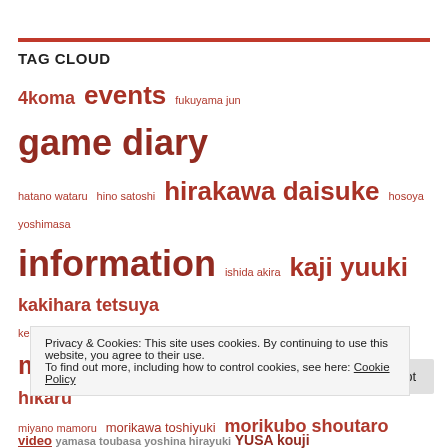TAG CLOUD
4koma events fukuyama jun game diary hatano wataru hino satoshi hirakawa daisuke hosoya yoshimasa information ishida akira kaji yuuki kakihara tetsuya kenn kimura ryouhei kishio daisuke kondou takashi konishi katsuyuki maeno tomoaki matsuoka yoshitsugu midorikawa hikaru miyano mamoru morikawa toshiyuki morikubo shoutaro nakamura yuichi namikawa daisuke okamoto nobuhiko okitsu kazuyuki ono daisuke ono yuuki Otomate Quin Rose rant
Privacy & Cookies: This site uses cookies. By continuing to use this website, you agree to their use. To find out more, including how to control cookies, see here: Cookie Policy
video yamasa toubasa yoshina hirayuki YUSA kouji